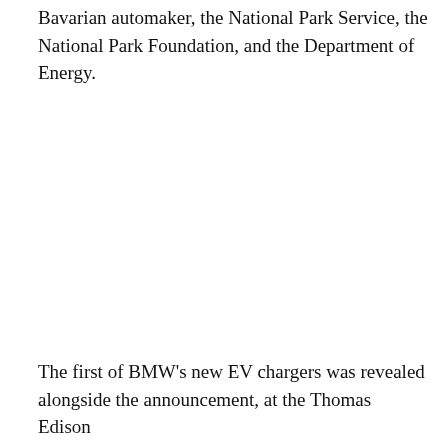Bavarian automaker, the National Park Service, the National Park Foundation, and the Department of Energy.
The first of BMW's new EV chargers was revealed alongside the announcement, at the Thomas Edison